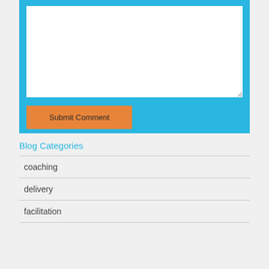[Figure (screenshot): A blue form area containing a white textarea input field and an orange 'Submit Comment' button below it.]
Blog Categories
coaching
delivery
facilitation